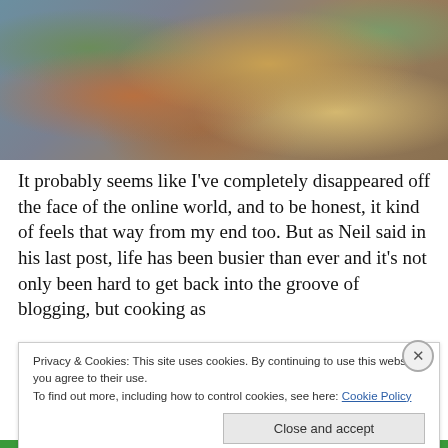[Figure (photo): Close-up photo of a grain dish (quinoa) with vegetables and broccoli on a plate with a blue-gray background]
It probably seems like I've completely disappeared off the face of the online world, and to be honest, it kind of feels that way from my end too. But as Neil said in his last post, life has been busier than ever and it's not only been hard to get back into the groove of blogging, but cooking as
Privacy & Cookies: This site uses cookies. By continuing to use this website, you agree to their use.
To find out more, including how to control cookies, see here: Cookie Policy
Close and accept